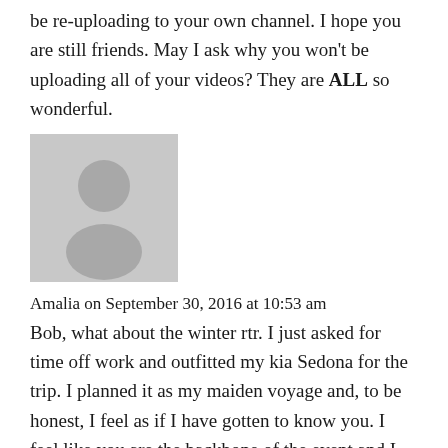be re-uploading to your own channel. I hope you are still friends. May I ask why you won't be uploading all of your videos? They are ALL so wonderful.
[Figure (illustration): Default grey avatar/profile placeholder image showing a silhouette of a person (head and shoulders) on a grey background.]
Amalia on September 30, 2016 at 10:53 am
Bob, what about the winter rtr. I just asked for time off work and outfitted my kia Sedona for the trip. I planned it as my maiden voyage and, to be honest, I feel as if I have gotten to know you. I feel like you are the backbone of the event and I would feel safe there. I am 56 years old, never camped by myself. Did it once for a weekend with all my children for a religious retreat from the mosque, and one night at a permaculture